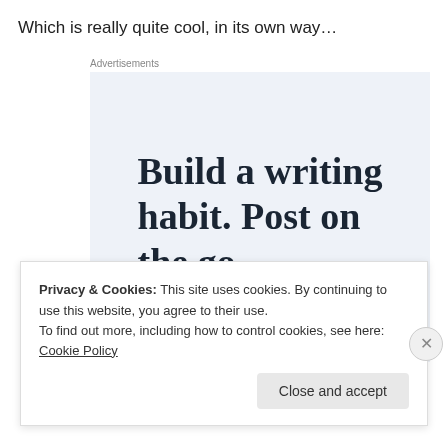Which is really quite cool, in its own way…
[Figure (other): Advertisement box with light blue background containing the text 'Build a writing habit. Post on the go.' in large serif bold font, with a blue circular element partially visible at the bottom]
Privacy & Cookies: This site uses cookies. By continuing to use this website, you agree to their use.
To find out more, including how to control cookies, see here: Cookie Policy